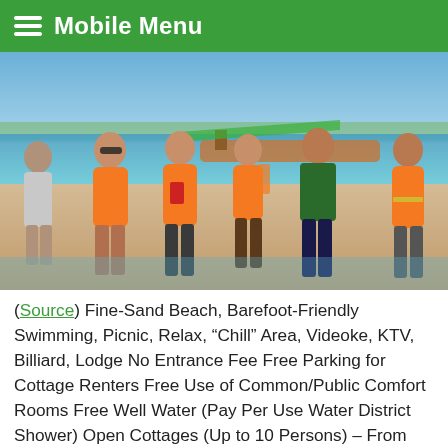Mobile Menu
[Figure (photo): Group of people wearing orange life vests standing near a boat on a beach with ocean in the background]
(Source) Fine-Sand Beach, Barefoot-Friendly Swimming, Picnic, Relax, “Chill” Area, Videoke, KTV, Billiard, Lodge No Entrance Fee Free Parking for Cottage Renters Free Use of Common/Public Comfort Rooms Free Well Water (Pay Per Use Water District Shower) Open Cottages (Up to 10 Persons) – From 200PhP (about $4) Bigger Cottages for Bigger Parties – From 500PhP (about $7) Videoke – (Pay Per Song or 12-